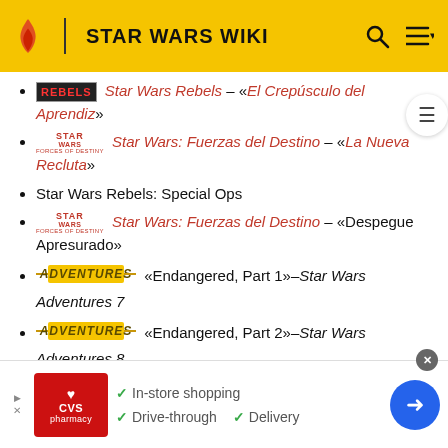STAR WARS WIKI
Star Wars Rebels – «El Crepúsculo del Aprendiz»
Star Wars: Fuerzas del Destino – «La Nueva Recluta»
Star Wars Rebels: Special Ops
Star Wars: Fuerzas del Destino – «Despegue Apresurado»
«Endangered, Part 1»–Star Wars Adventures 7
«Endangered, Part 2»–Star Wars Adventures 8
Star Wars Rebels: Adentrándose en la Sombra
[Figure (infographic): CVS Pharmacy advertisement: In-store shopping, Drive-through, Delivery]